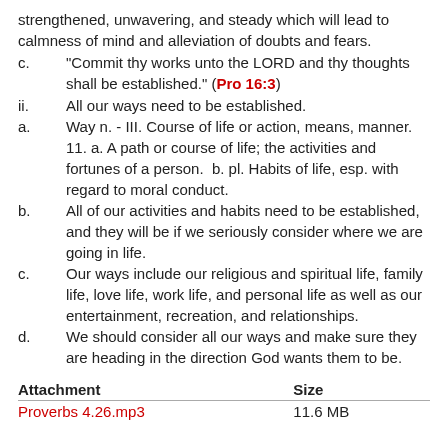strengthened, unwavering, and steady which will lead to calmness of mind and alleviation of doubts and fears.
c.      "Commit thy works unto the LORD and thy thoughts shall be established." (Pro 16:3)
ii.      All our ways need to be established.
a.      Way n. - III. Course of life or action, means, manner. 11. a. A path or course of life; the activities and fortunes of a person.  b. pl. Habits of life, esp. with regard to moral conduct.
b.      All of our activities and habits need to be established, and they will be if we seriously consider where we are going in life.
c.      Our ways include our religious and spiritual life, family life, love life, work life, and personal life as well as our entertainment, recreation, and relationships.
d.      We should consider all our ways and make sure they are heading in the direction God wants them to be.
| Attachment | Size |
| --- | --- |
| Proverbs 4.26.mp3 | 11.6 MB |